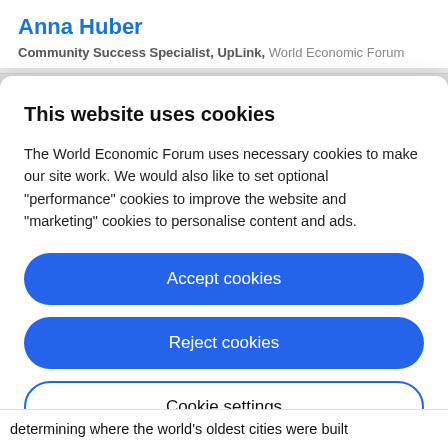Anna Huber
Community Success Specialist, UpLink, World Economic Forum
This website uses cookies
The World Economic Forum uses necessary cookies to make our site work. We would also like to set optional "performance" cookies to improve the website and "marketing" cookies to personalise content and ads.
Accept cookies
Reject cookies
Cookie settings
determining where the world's oldest cities were built